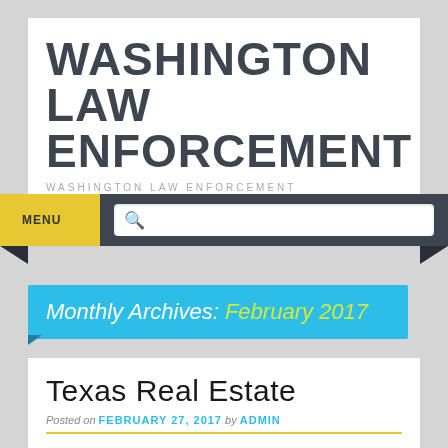WASHINGTON LAW ENFORCEMENT
WASHINGTON LAW ENFORCEMENT
MENU
Monthly Archives: February 2017
Texas Real Estate
Posted on FEBRUARY 27, 2017 by ADMIN